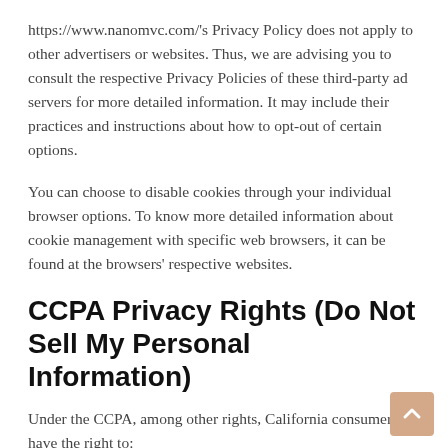https://www.nanomvc.com/'s Privacy Policy does not apply to other advertisers or websites. Thus, we are advising you to consult the respective Privacy Policies of these third-party ad servers for more detailed information. It may include their practices and instructions about how to opt-out of certain options.
You can choose to disable cookies through your individual browser options. To know more detailed information about cookie management with specific web browsers, it can be found at the browsers' respective websites.
CCPA Privacy Rights (Do Not Sell My Personal Information)
Under the CCPA, among other rights, California consumers have the right to: